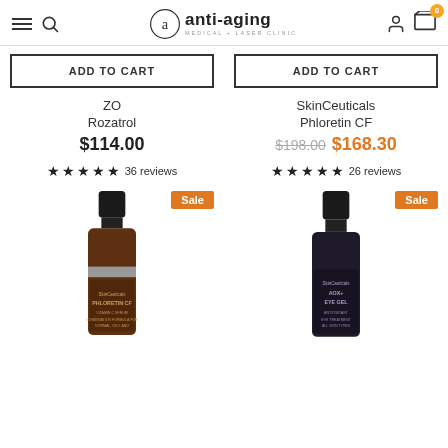anti-aging MEDICAL + LASER CLINIC
ADD TO CART — ZO Rozatrol $114.00 ★★★★★ 36 reviews
ADD TO CART — SkinCeuticals Phloretin CF $198.00 $168.30 ★★★★★ 26 reviews
[Figure (photo): SkinCeuticals bottle product photo with Sale badge]
[Figure (photo): SkinCeuticals AOX Eye GC bottle product photo with Sale badge]